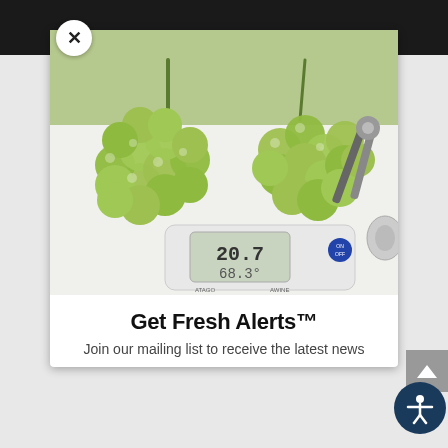[Figure (photo): Two bunches of green grapes on a white surface with a digital refractometer/scale device showing readings of 20.7 and 68.3]
Get Fresh Alerts™
Join our mailing list to receive the latest news